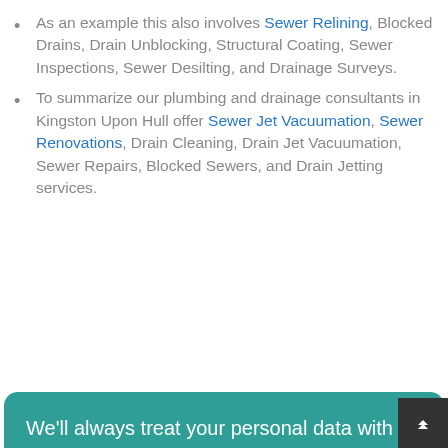As an example this also involves Sewer Relining, Blocked Drains, Drain Unblocking, Structural Coating, Sewer Inspections, Sewer Desilting, and Drainage Surveys.
To summarize our plumbing and drainage consultants in Kingston Upon Hull offer Sewer Jet Vacuumation, Sewer Renovations, Drain Cleaning, Drain Jet Vacuumation, Sewer Repairs, Blocked Sewers, and Drain Jetting services.
We'll always treat your personal data with the utmost care, and we want you to understand what data we collect from you, why we collect it, and how we protect it. Please read our Privacy & Cookie Policy before continuing.
Read Our Privacy and Cookie Policy
Decline
Accept
Kingston Upon Hull northern boundaries are bordered by